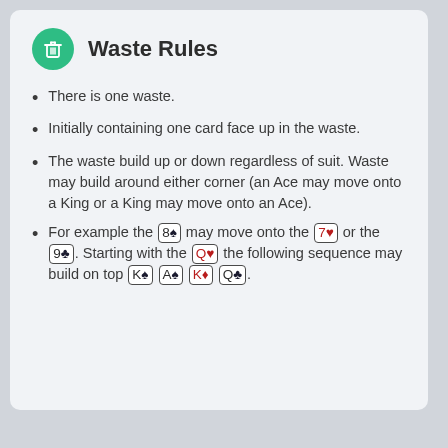Waste Rules
There is one waste.
Initially containing one card face up in the waste.
The waste build up or down regardless of suit. Waste may build around either corner (an Ace may move onto a King or a King may move onto an Ace).
For example the 8♠ may move onto the 7♥ or the 9♣. Starting with the Q♥ the following sequence may build on top K♠ A♠ K♦ Q♣.